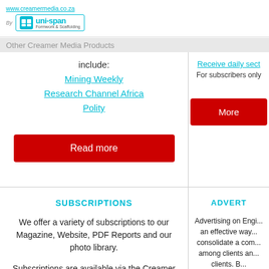www.creamermedia.co.za — By uni-span Formwork & Scaffolding
Other Creamer Media Products include:
Mining Weekly
Research Channel Africa
Polity
Read more
Receive daily sect...
For subscribers only
More...
SUBSCRIPTIONS
We offer a variety of subscriptions to our Magazine, Website, PDF Reports and our photo library.

Subscriptions are available via the Creamer Media Store.
ADVERT...
Advertising on Engi... an effective way... consolidate a com... among clients an... clients. B... advertising@cream...